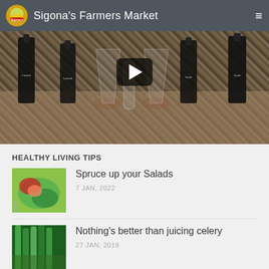Sigona's Farmers Market
[Figure (screenshot): Video thumbnail showing wine bottles and glasses on granite countertop with YouTube-style play button overlay]
HEALTHY LIVING TIPS
[Figure (photo): Photo of a salad with blood oranges and greens on a plate]
Spruce up your Salads
7 JAN, 2022
[Figure (photo): Photo of fresh celery stalks]
Nothing's better than juicing celery
27 JAN, 2019